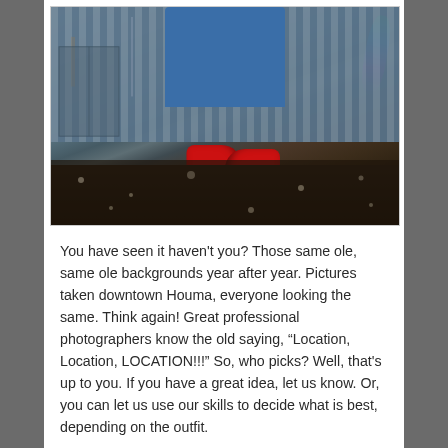[Figure (photo): Low-angle photograph of a person's legs in blue jeans wearing red and black athletic shoes, standing on gravel ground in front of a corrugated metal wall. A rainbow lens flare is visible in the upper right corner.]
You have seen it haven't you? Those same ole, same ole backgrounds year after year. Pictures taken downtown Houma, everyone looking the same. Think again! Great professional photographers know the old saying, “Location, Location, LOCATION!!!” So, who picks? Well, that's up to you. If you have a great idea, let us know. Or, you can let us use our skills to decide what is best, depending on the outfit.